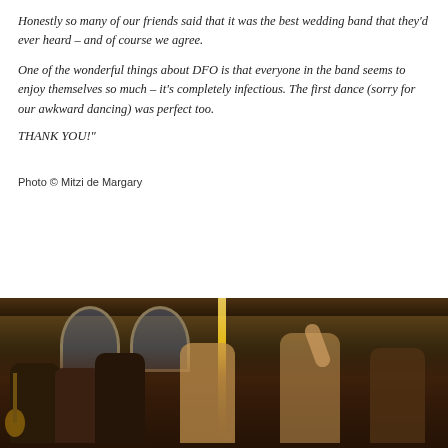Honestly so many of our friends said that it was the best wedding band that they'd ever heard – and of course we agree.
One of the wonderful things about DFO is that everyone in the band seems to enjoy themselves so much – it's completely infectious. The first dance (sorry for our awkward dancing) was perfect too.
THANK YOU!"
Photo © Mitzi de Margary
[Figure (photo): Indoor venue photo showing a crowd of people celebrating at a wedding, with arched windows in the background, a bright stage light, and people dancing and clapping with raised arms.]